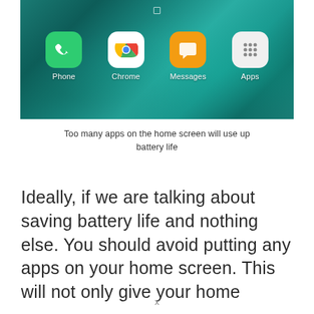[Figure (screenshot): Android phone home screen showing four app icons: Phone (green), Chrome (white with colorful logo), Messages (orange), and Apps (light gray with dots grid). Background shows hands holding phone with teal/dark color scheme.]
Too many apps on the home screen will use up battery life
Ideally, if we are talking about saving battery life and nothing else. You should avoid putting any apps on your home screen. This will not only give your home